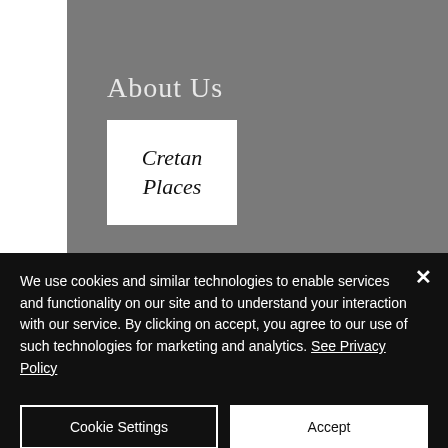About Us
[Figure (logo): Cretan Places logo — white box with cursive/script text reading 'Cretan Places']
The vision of our team, comprised by
We use cookies and similar technologies to enable services and functionality on our site and to understand your interaction with our service. By clicking on accept, you agree to our use of such technologies for marketing and analytics. See Privacy Policy
Cookie Settings
Accept